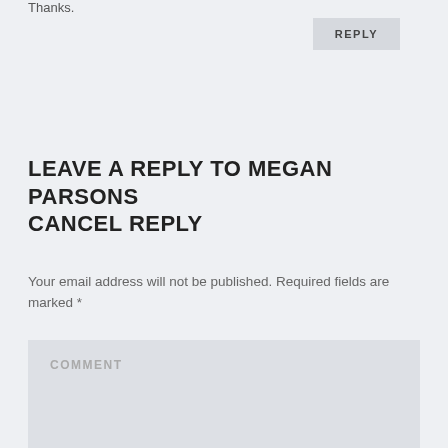Thanks.
REPLY
LEAVE A REPLY TO MEGAN PARSONS CANCEL REPLY
Your email address will not be published. Required fields are marked *
COMMENT